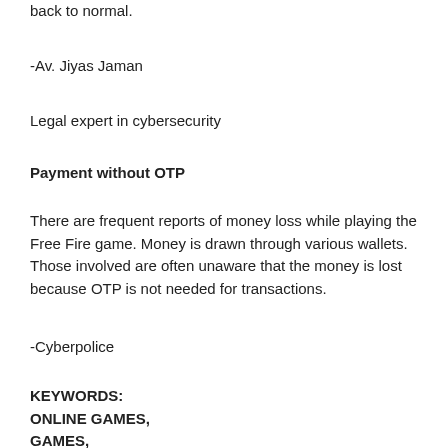back to normal.
-Av. Jiyas Jaman
Legal expert in cybersecurity
Payment without OTP
There are frequent reports of money loss while playing the Free Fire game. Money is drawn through various wallets. Those involved are often unaware that the money is lost because OTP is not needed for transactions.
-Cyberpolice
KEYWORDS: ONLINE GAMES, GAMES, SILENT KILLER,